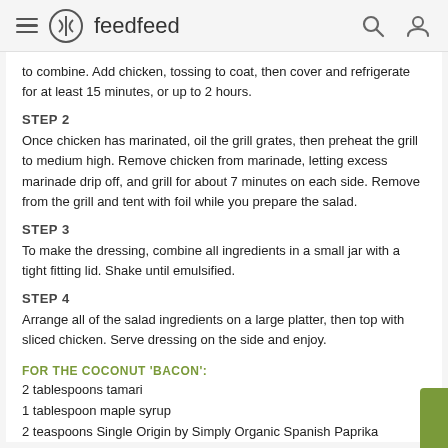feedfeed
to combine. Add chicken, tossing to coat, then cover and refrigerate for at least 15 minutes, or up to 2 hours.
STEP 2
Once chicken has marinated, oil the grill grates, then preheat the grill to medium high. Remove chicken from marinade, letting excess marinade drip off, and grill for about 7 minutes on each side. Remove from the grill and tent with foil while you prepare the salad.
STEP 3
To make the dressing, combine all ingredients in a small jar with a tight fitting lid. Shake until emulsified.
STEP 4
Arrange all of the salad ingredients on a large platter, then top with sliced chicken. Serve dressing on the side and enjoy.
FOR THE COCONUT 'BACON':
2 tablespoons tamari
1 tablespoon maple syrup
2 teaspoons Single Origin by Simply Organic Spanish Paprika